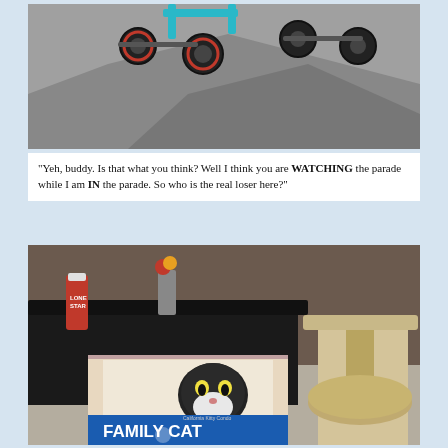[Figure (photo): A small wheeled cart or mobility device with black wheels and teal frame on a pavement surface, casting shadows.]
"Yeh, buddy. Is that what you think? Well I think you are WATCHING the parade while I am IN the parade. So who is the real loser here?"
[Figure (photo): A black and white cat peeking out from inside a 'FAMILY CAT' branded cardboard box next to a cat tree/scratching post, with a dark dining table and Lone Star beer can visible in the background.]